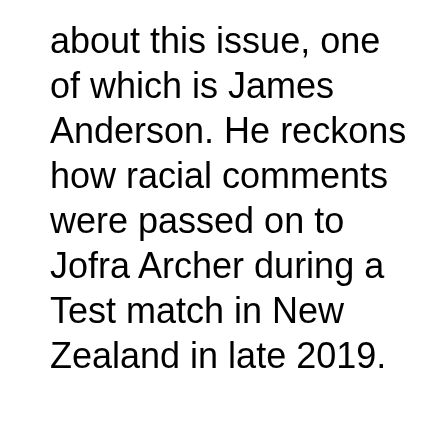about this issue, one of which is James Anderson. He reckons how racial comments were passed on to Jofra Archer during a Test match in New Zealand in late 2019.